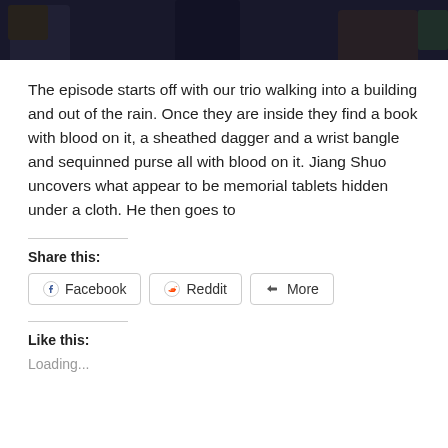[Figure (photo): Dark scene showing people sitting/standing in a dimly lit room, viewed from behind]
The episode starts off with our trio walking into a building and out of the rain. Once they are inside they find a book with blood on it, a sheathed dagger and a wrist bangle and sequinned purse all with blood on it. Jiang Shuo uncovers what appear to be memorial tablets hidden under a cloth. He then goes to
Share this:
[Figure (other): Social share buttons: Facebook, Reddit, More]
Like this:
Loading...